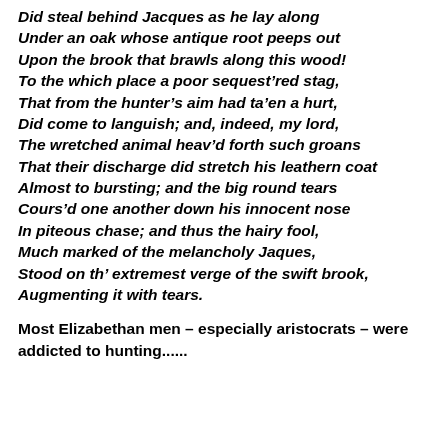Did steal behind Jacques as he lay along
Under an oak whose antique root peeps out
Upon the brook that brawls along this wood!
To the which place a poor sequest’red stag,
That from the hunter’s aim had ta’en a hurt,
Did come to languish; and, indeed, my lord,
The wretched animal heav’d forth such groans
That their discharge did stretch his leathern coat
Almost to bursting; and the big round tears
Cours’d one another down his innocent nose
In piteous chase; and thus the hairy fool,
Much marked of the melancholy Jaques,
Stood on th’ extremest verge of the swift brook,
Augmenting it with tears.
Most Elizabethan men – especially aristocrats – were addicted to hunting......